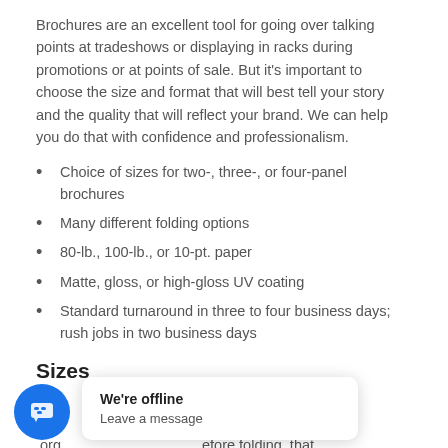Brochures are an excellent tool for going over talking points at tradeshows or displaying in racks during promotions or at points of sale. But it's important to choose the size and format that will best tell your story and the quality that will reflect your brand. We can help you do that with confidence and professionalism.
Choice of sizes for two-, three-, or four-panel brochures
Many different folding options
80-lb., 100-lb., or 10-pt. paper
Matte, gloss, or high-gloss UV coating
Standard turnaround in three to four business days; rush jobs in two business days
Sizes
ize ...epends on how in ...and how it can be org ...efore folding, that we offer: